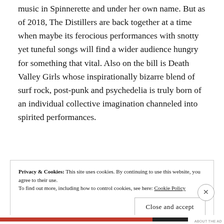music in Spinnerette and under her own name. But as of 2018, The Distillers are back together at a time when maybe its ferocious performances with snotty yet tuneful songs will find a wider audience hungry for something that vital. Also on the bill is Death Valley Girls whose inspirationally bizarre blend of surf rock, post-punk and psychedelia is truly born of an individual collective imagination channeled into spirited performances.
Privacy & Cookies: This site uses cookies. By continuing to use this website, you agree to their use. To find out more, including how to control cookies, see here: Cookie Policy
Close and accept